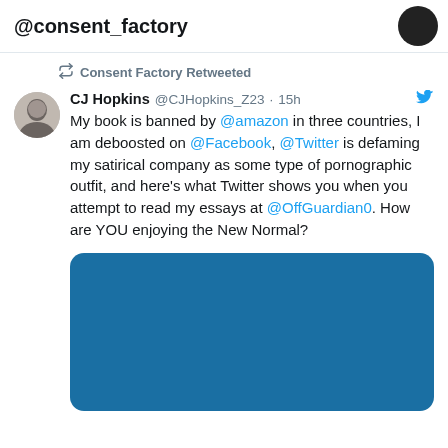@consent_factory
Consent Factory Retweeted
CJ Hopkins @CJHopkins_Z23 · 15h
My book is banned by @amazon in three countries, I am deboosted on @Facebook, @Twitter is defaming my satirical company as some type of pornographic outfit, and here's what Twitter shows you when you attempt to read my essays at @OffGuardian0. How are YOU enjoying the New Normal?
[Figure (other): A solid blue rounded rectangle, representing a blocked/hidden image or media on Twitter]